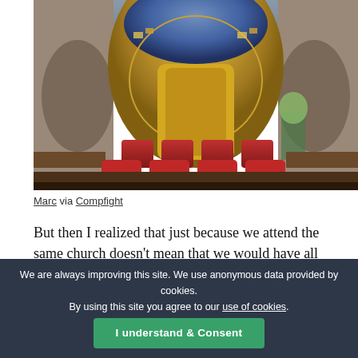[Figure (photo): Interior of an ornate church with colorful mosaic apse, golden altarpiece, and red upholstered chairs in the foreground]
Marc via Compfight
But then I realized that just because we attend the same church doesn't mean that we would have all those things. I mean I have attended churches where I didn't believe what the church believed, and most people didn't know what was going on in my life so they couldn't keep me accountable for
We are always improving this site. We use anonymous data provided by cookies. By using this site you agree to our use of cookies.
I understand & Consent